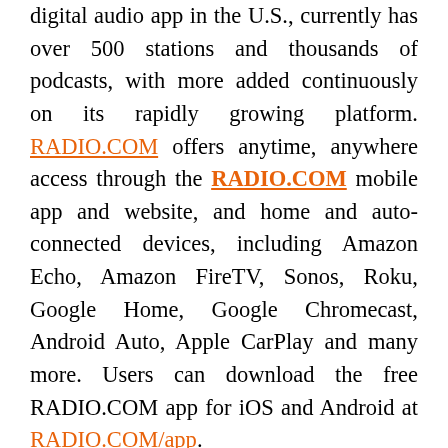digital audio app in the U.S., currently has over 500 stations and thousands of podcasts, with more added continuously on its rapidly growing platform. RADIO.COM offers anytime, anywhere access through the RADIO.COM mobile app and website, and home and auto-connected devices, including Amazon Echo, Amazon FireTV, Sonos, Roku, Google Home, Google Chromecast, Android Auto, Apple CarPlay and many more. Users can download the free RADIO.COM app for iOS and Android at RADIO.COM/app.